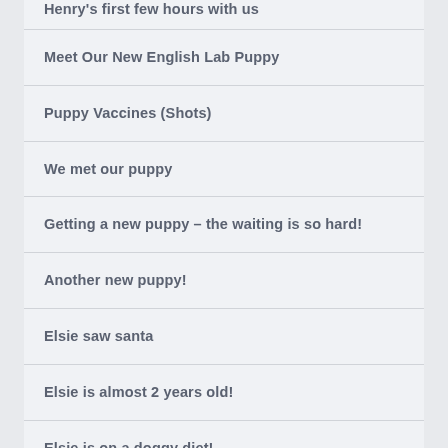Henry's first few hours with us
Meet Our New English Lab Puppy
Puppy Vaccines (Shots)
We met our puppy
Getting a new puppy – the waiting is so hard!
Another new puppy!
Elsie saw santa
Elsie is almost 2 years old!
Elsie is on a doggy diet!
Our silly puppy